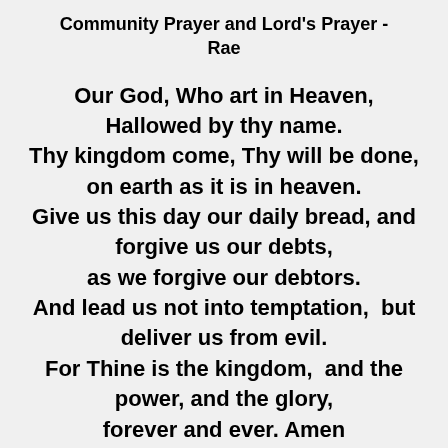Community Prayer and Lord's Prayer - Rae
Our God, Who art in Heaven, Hallowed by thy name.
Thy kingdom come, Thy will be done, on earth as it is in heaven.
Give us this day our daily bread, and forgive us our debts,
as we forgive our debtors.
And lead us not into temptation,  but deliver us from evil.
For Thine is the kingdom,  and the power, and the glory,
forever and ever. Amen